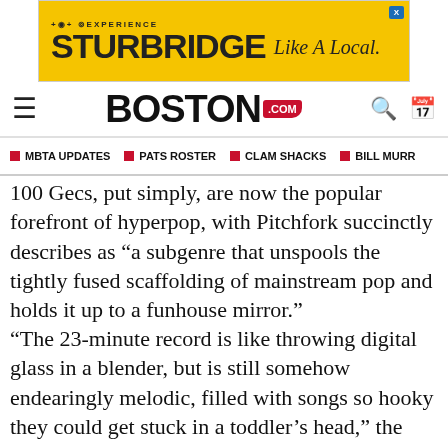[Figure (infographic): Advertisement banner for Experience Sturbridge 'Like A Local' with yellow background]
BOSTON.com navigation header with hamburger menu, Boston.com logo, search and calendar icons
MBTA UPDATES | PATS ROSTER | CLAM SHACKS | BILL MURR
100 Gecs, put simply, are now the popular forefront of hyperpop, with Pitchfork succinctly describes as “a subgenre that unspools the tightly fused scaffolding of mainstream pop and holds it up to a funhouse mirror.”
“The 23-minute record is like throwing digital glass in a blender, but is still somehow endearingly melodic, filled with songs so hooky they could get stuck in a toddler’s head,” the music news website wrote of the duo’s ‘1,000 Gecs.’ “It quickly attracted a following of listeners who felt